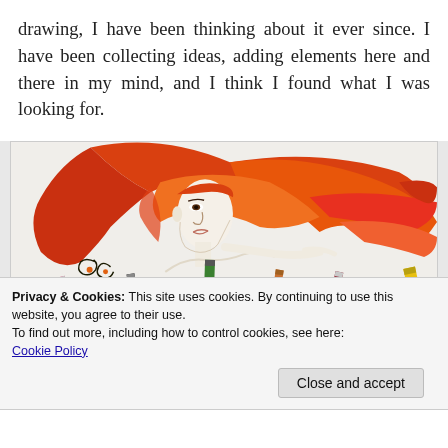drawing, I have been thinking about it ever since. I have been collecting ideas, adding elements here and there in my mind, and I think I found what I was looking for.
[Figure (illustration): A colored pencil drawing of a woman's face with flowing red/orange hair spread wide, with several colored pencils (pink, black, green, orange, dark red, yellow) placed in front of the drawing on a white surface.]
Privacy & Cookies: This site uses cookies. By continuing to use this website, you agree to their use.
To find out more, including how to control cookies, see here: Cookie Policy
Close and accept